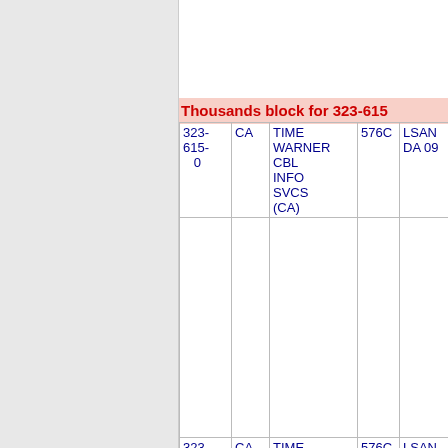Thousands block for 323-615
| Number | State | Name | Code | Extra |
| --- | --- | --- | --- | --- |
| 323-615-0 | CA | TIME WARNER CBL INFO SVCS (CA) | 576C | LSAN DA 09 |
| 323-615- | CA | TIME WARNER TW... | 576C | LSAN DA 09 |